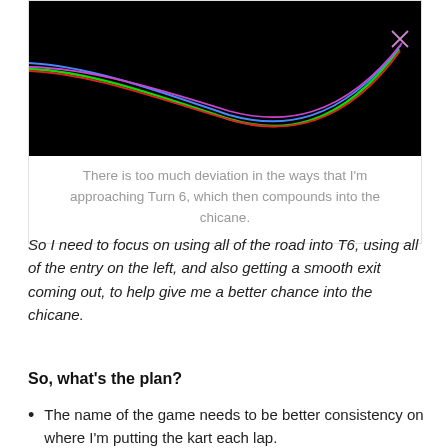[Figure (continuous-plot): Black background image showing multiple colored racing lines (green, blue, red, purple) curving from left to right through Turn 6, with an X marker near the top right. The lines show different approaches to the corner.]
There is too much deviation in the ways that I'm approaching Turn 6, which then compounds into the chicane.
So I need to focus on using all of the road into T6, using all of the entry on the left, and also getting a smooth exit coming out, to help give me a better chance into the chicane.
So, what's the plan?
The name of the game needs to be better consistency on where I'm putting the kart each lap.